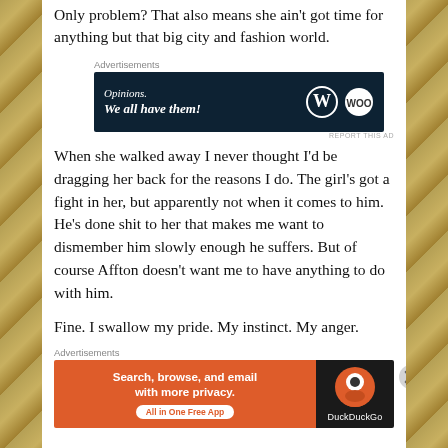Only problem? That also means she ain't got time for anything but that big city and fashion world.
[Figure (screenshot): WordPress advertisement banner: 'Opinions. We all have them!' with WordPress logo and circular logo on dark navy background]
When she walked away I never thought I'd be dragging her back for the reasons I do. The girl's got a fight in her, but apparently not when it comes to him. He's done shit to her that makes me want to dismember him slowly enough he suffers. But of course Affton doesn't want me to have anything to do with him.
Fine. I swallow my pride. My instinct. My anger.
[Figure (screenshot): DuckDuckGo advertisement banner: 'Search, browse, and email with more privacy. All in One Free App' on orange background with DuckDuckGo logo on dark background]